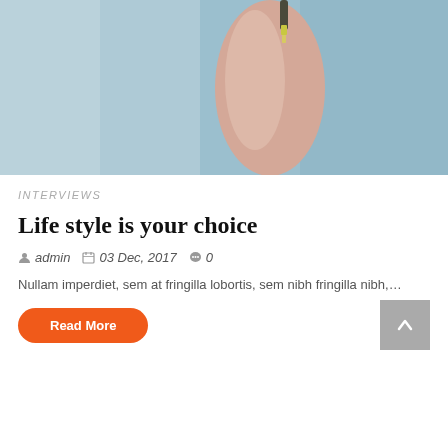[Figure (photo): A person's arm raised up against a blue background, holding what appears to be a small object, cropped so only the arm and blue background are visible.]
INTERVIEWS
Life style is your choice
admin   03 Dec, 2017   0
Nullam imperdiet, sem at fringilla lobortis, sem nibh fringilla nibh,…
Read More